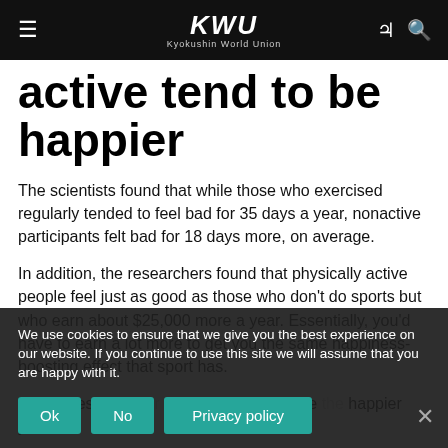KWU Kyokushin World Union
active tend to be happier
The scientists found that while those who exercised regularly tended to feel bad for 35 days a year, nonactive participants felt bad for 18 days more, on average.
In addition, the researchers found that physically active people feel just as good as those who don't do sports but who earn about $25,000 more a year. Essentially, you'd have to earn a lot more to get you the same happiness-boosting effect that sport has.
But it doesn't matter how intense the more the happier you are.
We use cookies to ensure that we give you the best experience on our website. If you continue to use this site we will assume that you are happy with it.